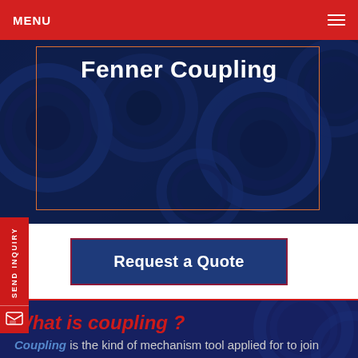MENU
Fenner Coupling
Request a Quote
SEND INQUIRY
What is coupling ?
Coupling is the kind of mechanism tool applied for to join